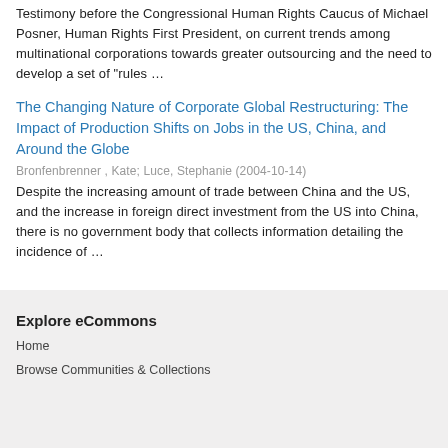Testimony before the Congressional Human Rights Caucus of Michael Posner, Human Rights First President, on current trends among multinational corporations towards greater outsourcing and the need to develop a set of "rules …
The Changing Nature of Corporate Global Restructuring: The Impact of Production Shifts on Jobs in the US, China, and Around the Globe
Bronfenbrenner , Kate; Luce, Stephanie (2004-10-14)
Despite the increasing amount of trade between China and the US, and the increase in foreign direct investment from the US into China, there is no government body that collects information detailing the incidence of …
Explore eCommons
Home
Browse Communities & Collections